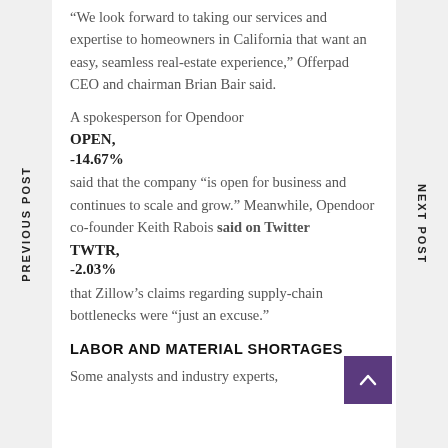“We look forward to taking our services and expertise to homeowners in California that want an easy, seamless real-estate experience,” Offerpad CEO and chairman Brian Bair said.
A spokesperson for Opendoor OPEN, -14.67% said that the company “is open for business and continues to scale and grow.” Meanwhile, Opendoor co-founder Keith Rabois said on Twitter TWTR, -2.03% that Zillow’s claims regarding supply-chain bottlenecks were “just an excuse.”
LABOR AND MATERIAL SHORTAGES
Some analysts and industry experts,